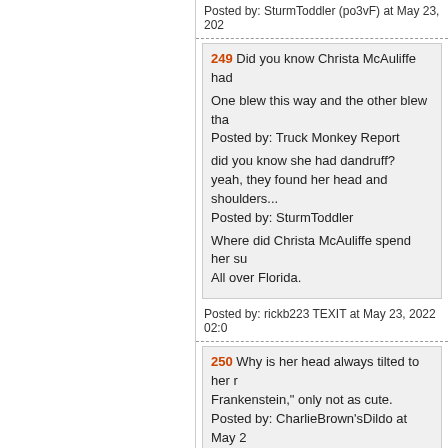Posted by: SturmToddler (po3vF) at May 23, 202
249 Did you know Christa McAuliffe had
One blew this way and the other blew that
Posted by: Truck Monkey Report

did you know she had dandruff?
yeah, they found her head and shoulders...
Posted by: SturmToddler

Where did Christa McAuliffe spend her su
All over Florida.
Posted by: rickb223 TEXIT at May 23, 2022 02:0
250 Why is her head always tilted to her r
Frankenstein," only not as cute.
Posted by: CharlieBrown'sDildo at May 2

I started reading that as- Why is her head a
Posted by: Berserker-Dragonheads Division at M